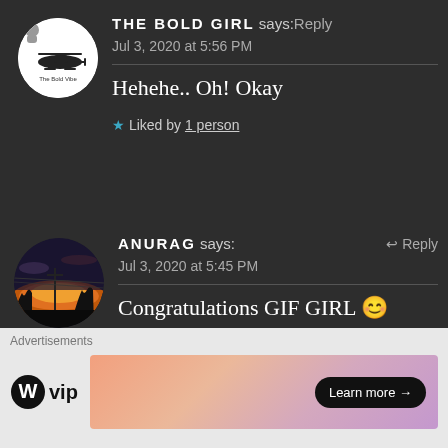[Figure (photo): Avatar of The Bold Girl blog - white circle with helicopter silhouette logo and text 'The Bold Vibe']
THE BOLD GIRL says: Reply
Jul 3, 2020 at 5:56 PM
Hehehe.. Oh! Okay
★ Liked by 1 person
[Figure (photo): Avatar of Anurag - circular photo of a sunset landscape with silhouetted trees and utility poles against an orange-purple sky]
ANURAG says:    ↩ Reply
Jul 3, 2020 at 5:45 PM
Congratulations GIF GIRL 😊
★ Liked by 1 person
Advertisements
[Figure (logo): WordPress VIP logo - WordPress W logo followed by 'vip' text]
[Figure (screenshot): Advertisement banner with gradient background (peach/salmon to lavender) with a dark 'Learn more →' button]